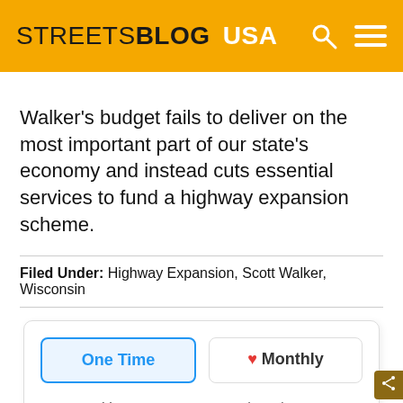STREETSBLOG USA
Walker's budget fails to deliver on the most important part of our state's economy and instead cuts essential services to fund a highway expansion scheme.
Filed Under: Highway Expansion, Scott Walker, Wisconsin
[Figure (infographic): Donation widget with 'One Time' and 'Monthly' tabs, 'Your most generous donation' label, and donation amount buttons showing $25, $55, $120]